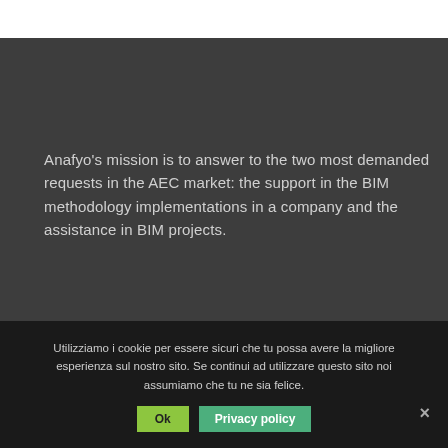Anafyo's mission is to answer to the two most demanded requests in the AEC market: the support in the BIM methodology implementations in a company and the assistance in BIM projects.
Utilizziamo i cookie per essere sicuri che tu possa avere la migliore esperienza sul nostro sito. Se continui ad utilizzare questo sito noi assumiamo che tu ne sia felice.